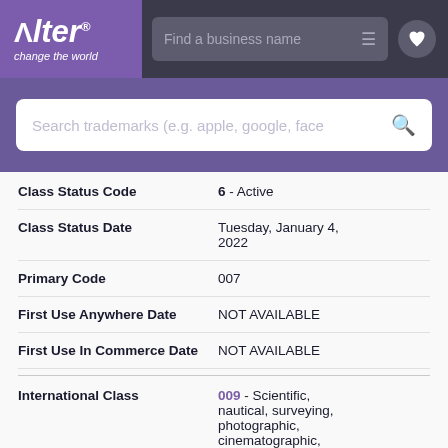[Figure (logo): Alter logo with tagline 'change the world' on purple background]
| Field | Value |
| --- | --- |
| Class Status Code | 6 - Active |
| Class Status Date | Tuesday, January 4, 2022 |
| Primary Code | 007 |
| First Use Anywhere Date | NOT AVAILABLE |
| First Use In Commerce Date | NOT AVAILABLE |
| International Class | 009 - Scientific, nautical, surveying, photographic, cinematographic, |